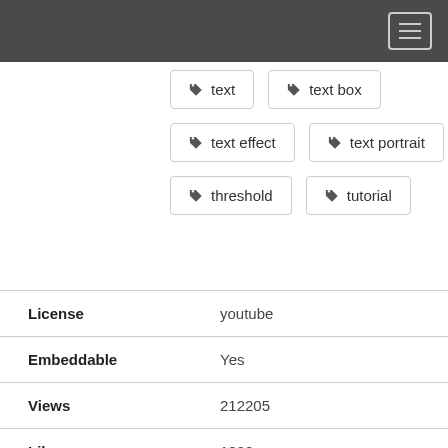text
text box
text effect
text portrait
threshold
tutorial
| Field | Value |
| --- | --- |
| License | youtube |
| Embeddable | Yes |
| Views | 212205 |
| Likes | 1892 |
| Dislikes | 35 |
| Favourites | 0 |
| Comments | 327 |